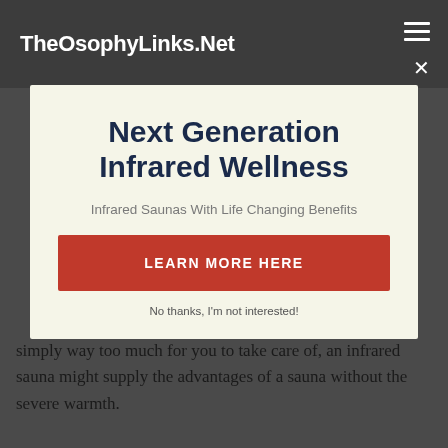TheOsophyLinks.Net
Next Generation Infrared Wellness
Infrared Saunas With Life Changing Benefits
LEARN MORE HERE
No thanks, I'm not interested!
simply way too much for you to take care of, an infrared sauna might supply the advantages of a sauna without the severe warmth.